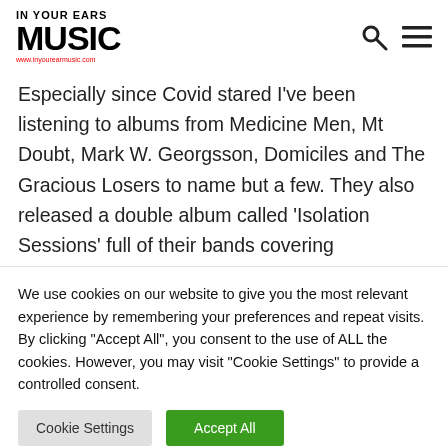[Figure (logo): In Your Ears Music logo with website URL www.inyourearmusic.com]
Especially since Covid stared I've been listening to albums from Medicine Men, Mt Doubt, Mark W. Georgsson, Domiciles and The Gracious Losers to name but a few. They also released a double album called 'Isolation Sessions' full of their bands covering
We use cookies on our website to give you the most relevant experience by remembering your preferences and repeat visits. By clicking "Accept All", you consent to the use of ALL the cookies. However, you may visit "Cookie Settings" to provide a controlled consent.